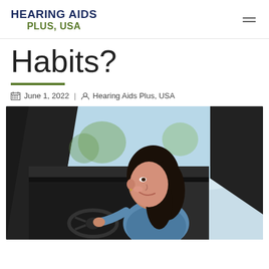HEARING AIDS PLUS, USA
Habits?
June 1, 2022 | Hearing Aids Plus, USA
[Figure (photo): A young woman with dark hair smiling while driving a car, viewed through the open driver-side window. She is holding the steering wheel and the car interior is dark/black.]